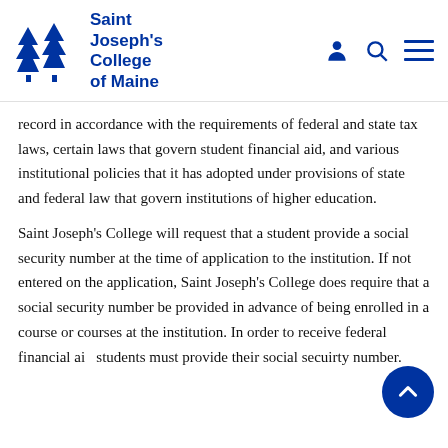[Figure (logo): Saint Joseph's College of Maine logo with blue pine tree graphic and blue text]
record in accordance with the requirements of federal and state tax laws, certain laws that govern student financial aid, and various institutional policies that it has adopted under provisions of state and federal law that govern institutions of higher education.
Saint Joseph's College will request that a student provide a social security number at the time of application to the institution. If not entered on the application, Saint Joseph's College does require that a social security number be provided in advance of being enrolled in a course or courses at the institution. In order to receive federal financial aid, students must provide their social secuirty number.